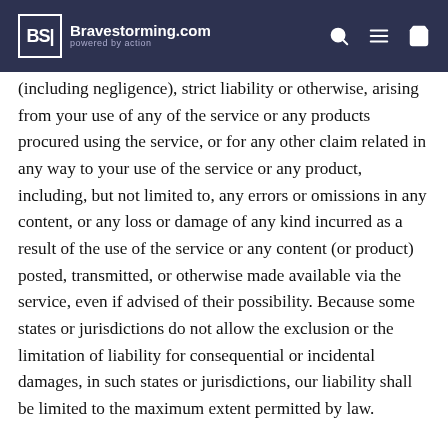Bravestorming.com powered by action
(including negligence), strict liability or otherwise, arising from your use of any of the service or any products procured using the service, or for any other claim related in any way to your use of the service or any product, including, but not limited to, any errors or omissions in any content, or any loss or damage of any kind incurred as a result of the use of the service or any content (or product) posted, transmitted, or otherwise made available via the service, even if advised of their possibility. Because some states or jurisdictions do not allow the exclusion or the limitation of liability for consequential or incidental damages, in such states or jurisdictions, our liability shall be limited to the maximum extent permitted by law.